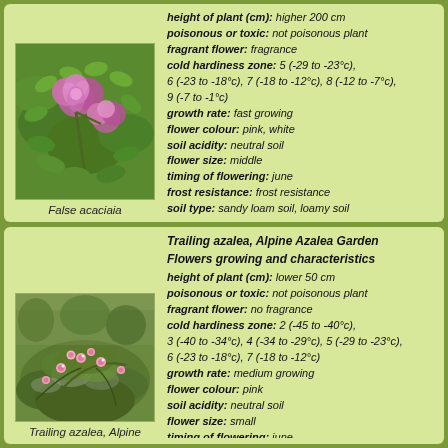[Figure (photo): Photo of False acacia plant with pink/purple flowers and green leaves]
False acaciaia
height of plant (cm): higher 200 cm
poisonous or toxic: not poisonous plant
fragrant flower: fragrance
cold hardiness zone: 5 (-29 to -23°c), 6 (-23 to -18°c), 7 (-18 to -12°c), 8 (-12 to -7°c), 9 (-7 to -1°c)
growth rate: fast growing
flower colour: pink, white
soil acidity: neutral soil
flower size: middle
timing of flowering: june
frost resistance: frost resistance
soil type: sandy loam soil, loamy soil
shelter in winter: requires shelter
landscape use: specimen
water needs: moderate
light needs: full sun
more information
Trailing azalea, Alpine Azalea Garden Flowers growing and characteristics
height of plant (cm): lower 50 cm
poisonous or toxic: not poisonous plant
fragrant flower: no fragrance
cold hardiness zone: 2 (-45 to -40°c), 3 (-40 to -34°c), 4 (-34 to -29°c), 5 (-29 to -23°c), 6 (-23 to -18°c), 7 (-18 to -12°c)
growth rate: medium growing
flower colour: pink
soil acidity: neutral soil
flower size: small
timing of flowering: june
[Figure (photo): Photo of Trailing azalea, Alpine azalea plant with small pink flowers growing low on ground]
Trailing azalea, Alpine